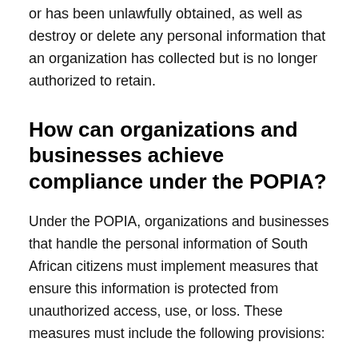or has been unlawfully obtained, as well as destroy or delete any personal information that an organization has collected but is no longer authorized to retain.
How can organizations and businesses achieve compliance under the POPIA?
Under the POPIA, organizations and businesses that handle the personal information of South African citizens must implement measures that ensure this information is protected from unauthorized access, use, or loss. These measures must include the following provisions: